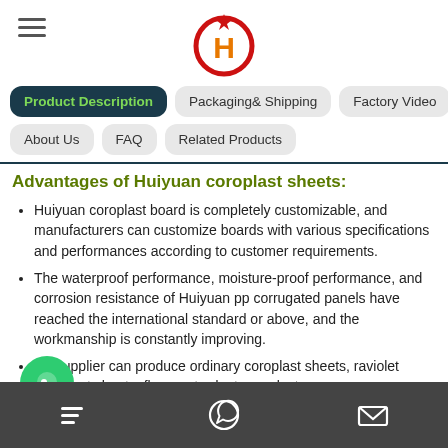Huiyuan company logo and hamburger menu
Product Description | Packaging& Shipping | Factory Video | About Us | FAQ | Related Products
Advantages of Huiyuan coroplast sheets:
Huiyuan coroplast board is completely customizable, and manufacturers can customize boards with various specifications and performances according to customer requirements.
The waterproof performance, moisture-proof performance, and corrosion resistance of Huiyuan pp corrugated panels have reached the international standard or above, and the workmanship is constantly improving.
an Supplier can produce ordinary coroplast sheets, raviolet coroplast sheets, flame retardant coroplast
Bottom navigation bar with chat, WhatsApp, and email icons